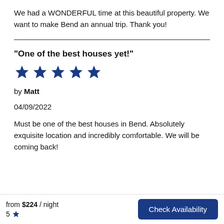We had a WONDERFUL time at this beautiful property. We want to make Bend an annual trip. Thank you!
"One of the best houses yet!"
[Figure (other): 5 blue star rating icons]
by Matt
04/09/2022
Must be one of the best houses in Bend. Absolutely exquisite location and incredibly comfortable. We will be coming back!
from $224 / night  5 ★  Check Availability